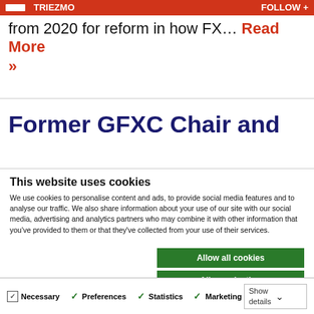from 2020 for reform in how FX… Read More »
Former GFXC Chair and
This website uses cookies
We use cookies to personalise content and ads, to provide social media features and to analyse our traffic. We also share information about your use of our site with our social media, advertising and analytics partners who may combine it with other information that you've provided to them or that they've collected from your use of their services.
Allow all cookies
Allow selection
Use necessary cookies only
Necessary Preferences Statistics Marketing Show details